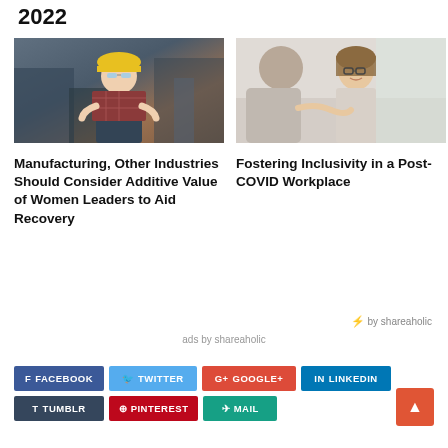2022
[Figure (photo): Woman in hard hat and safety glasses with arms crossed in an industrial/manufacturing setting]
[Figure (photo): Two people shaking hands in an office setting, woman with glasses smiling]
Manufacturing, Other Industries Should Consider Additive Value of Women Leaders to Aid Recovery
Fostering Inclusivity in a Post-COVID Workplace
⚡ by shareaholic
ads by shareaholic
f FACEBOOK
TWITTER
g+ GOOGLE+
in LINKEDIN
t TUMBLR
® PINTEREST
✈ MAIL